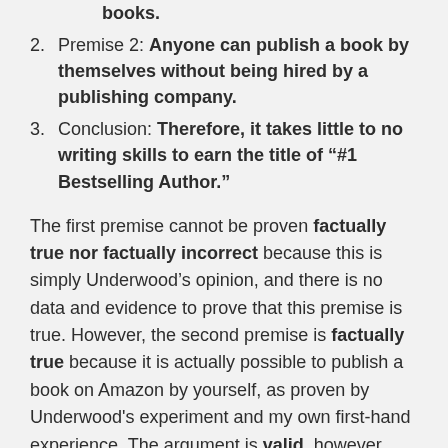books.
Premise 2: Anyone can publish a book by themselves without being hired by a publishing company.
Conclusion: Therefore, it takes little to no writing skills to earn the title of “#1 Bestselling Author.”
The first premise cannot be proven factually true nor factually incorrect because this is simply Underwood’s opinion, and there is no data and evidence to prove that this premise is true. However, the second premise is factually true because it is actually possible to publish a book on Amazon by yourself, as proven by Underwood's experiment and my own first-hand experience. The argument is valid, however, because this conclusion may be drawn from the two premises: it takes little to